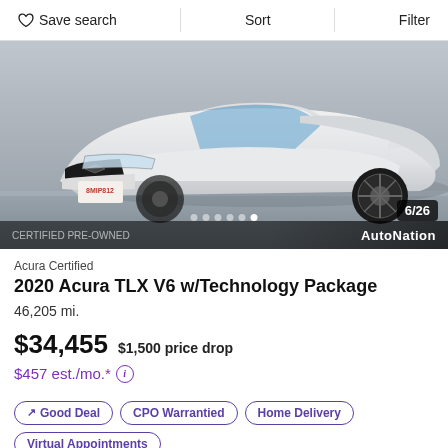Save search  Sort  Filter
[Figure (photo): White 2020 Acura TLX V6 sedan front three-quarter view with California license plate 8MIP812, shown in a parking lot. Image counter shows 6/26. AutoNation dealer branding visible at bottom.]
Acura Certified
2020 Acura TLX V6 w/Technology Package
46,205 mi.
$34,455  $1,500 price drop
$457 est./mo.*
Good Deal  CPO Warrantied  Home Delivery  Virtual Appointments